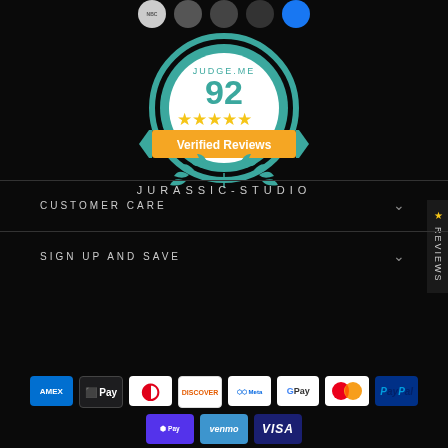[Figure (logo): NBC and other media/brand logos in circles at top]
[Figure (infographic): Judge.me badge showing score 92, five gold stars, and 'Verified Reviews' banner on teal circular badge with laurel wreath]
REVIEWS (vertical side tab with star icon)
JURASSIC-STUDIO
CUSTOMER CARE
SIGN UP AND SAVE
[Figure (infographic): Payment method icons: American Express, Apple Pay, Diners Club, Discover, Meta Pay, Google Pay, Mastercard, PayPal, Shop Pay, Venmo, Visa]